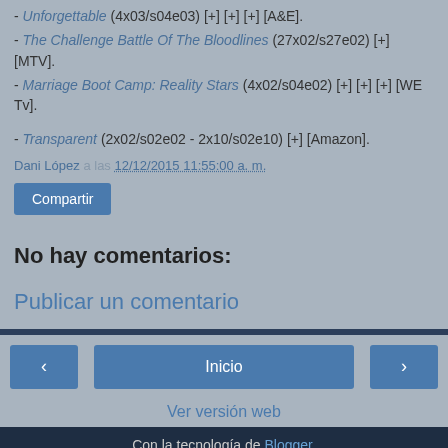- Unforgettable (4x03/s04e03) [+] [+] [+] [A&E].
- The Challenge Battle Of The Bloodlines (27x02/s27e02) [+] [MTV].
- Marriage Boot Camp: Reality Stars (4x02/s04e02) [+] [+] [+] [WE Tv].
- Transparent (2x02/s02e02 - 2x10/s02e10) [+] [Amazon].
Dani López a las 12/12/2015 11:55:00 a. m.
Compartir
No hay comentarios:
Publicar un comentario
‹
Inicio
›
Ver versión web
Con la tecnología de Blogger.